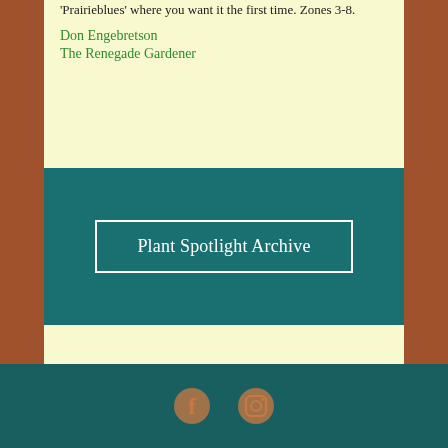'Prairieblues' where you want it the first time. Zones 3-8.
Don Engebretson
The Renegade Gardener
[Figure (other): Teal banner containing a white-bordered button labeled 'Plant Spotlight Archive']
Social media icons: Facebook and Instagram